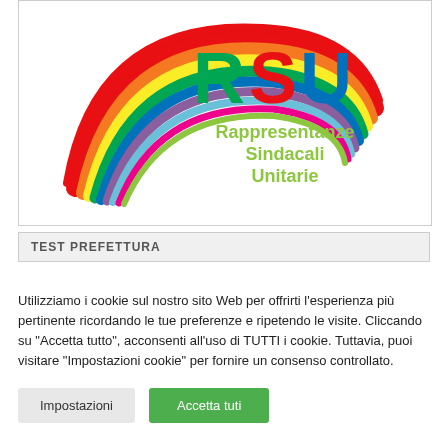[Figure (logo): RSU - Rappresentanze Sindacali Unitarie logo with rainbow swirl design and colorful text]
TEST PREFETTURA
Utilizziamo i cookie sul nostro sito Web per offrirti l'esperienza più pertinente ricordando le tue preferenze e ripetendo le visite. Cliccando su "Accetta tutto", acconsenti all'uso di TUTTI i cookie. Tuttavia, puoi visitare "Impostazioni cookie" per fornire un consenso controllato.
Impostazioni
Accetta tuti